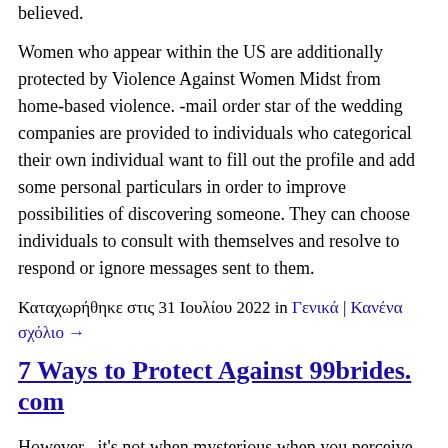believed.
Women who appear within the US are additionally protected by Violence Against Women Midst from home-based violence. -mail order star of the wedding companies are provided to individuals who categorical their own individual want to fill out the profile and add some personal particulars in order to improve possibilities of discovering someone. They can choose individuals to consult with themselves and resolve to respond or ignore messages sent to them.
Καταχωρήθηκε στις 31 Ιουλίου 2022 in Γενικά | Κανένα σχόλιο →
7 Ways to Protect Against 99brides. com
However , it's not when mysterious when you perceive the principle guidelines, ideas, and rules, and that's precisely what we're going to discuss with this information. David Steward is skilled traveler who undoubtedly is certainly interested in European countries, it is people, and culture. His expertise, data, and fascination in public sciences and psychology have been completely what we have already been looking for, and from now on David creates guides for all of us. At the similar time, VAWA is a doctor that protects individuals who suffered with domestic violence by aiding in getting a inexperienced cards without their